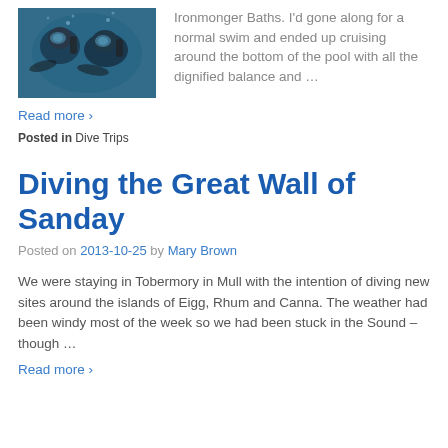[Figure (photo): Underwater photo of two scuba divers close to each other, blue-green water background]
Ironmonger Baths. I'd gone along for a normal swim and ended up cruising around the bottom of the pool with all the dignified balance and …
Read more ›
Posted in Dive Trips
Diving the Great Wall of Sanday
Posted on 2013-10-25 by Mary Brown
We were staying in Tobermory in Mull with the intention of diving new sites around the islands of Eigg, Rhum and Canna. The weather had been windy most of the week so we had been stuck in the Sound – though …
Read more ›